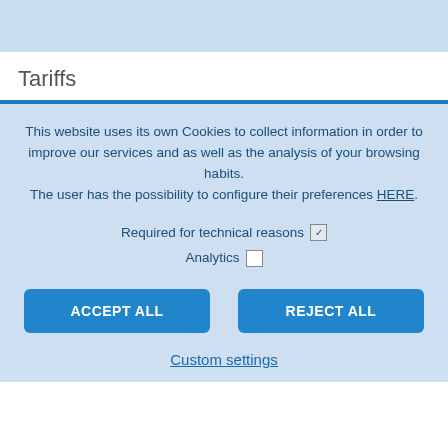Tariffs
This website uses its own Cookies to collect information in order to improve our services and as well as the analysis of your browsing habits.
The user has the possibility to configure their preferences HERE.
Required for technical reasons ✓
Analytics □
ACCEPT ALL   REJECT ALL
Custom settings